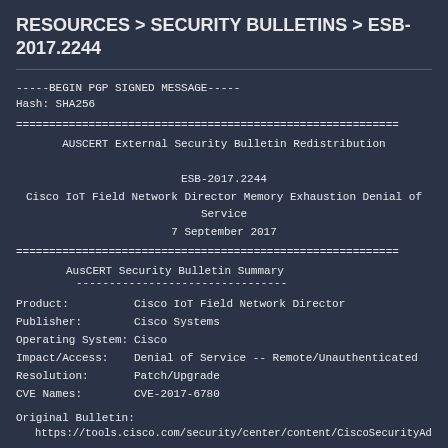RESOURCES  >  SECURITY BULLETINS  >  ESB-2017.2244
-----BEGIN PGP SIGNED MESSAGE-----
Hash: SHA256
==============================================================
AUSCERT External Security Bulletin Redistribution

ESB-2017.2244
Cisco IoT Field Network Director Memory Exhaustion Denial of Service
7 September 2017
==============================================================
AusCERT Security Bulletin Summary
--------------------------------
Product:          Cisco IoT Field Network Director
Publisher:         Cisco Systems
Operating System:  Cisco
Impact/Access:    Denial of Service -- Remote/Unauthenticated
Resolution:        Patch/Upgrade
CVE Names:         CVE-2017-6780
Original Bulletin:
   https://tools.cisco.com/security/center/content/CiscoSecurityAdvisory/cisco-s